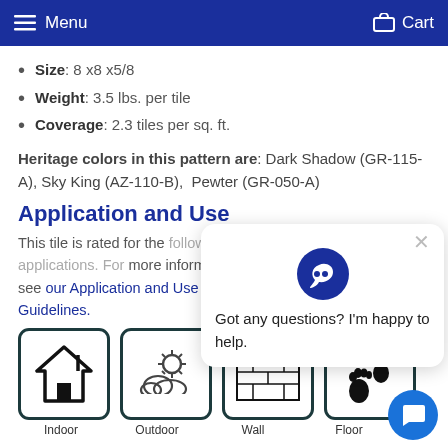Menu  Cart
Size: 8 x8 x5/8
Weight: 3.5 lbs. per tile
Coverage: 2.3 tiles per sq. ft.
Heritage colors in this pattern are: Dark Shadow (GR-115-A), Sky King (AZ-110-B), Pewter (GR-050-A)
Application and Use
This tile is rated for the following applications. For more information, see our Application and Use Guidelines.
[Figure (illustration): Four icons in rounded-square frames: house (Indoor), sun with cloud (Outdoor), brick wall (Wall), footprints (Floor)]
Got any questions? I'm happy to help.